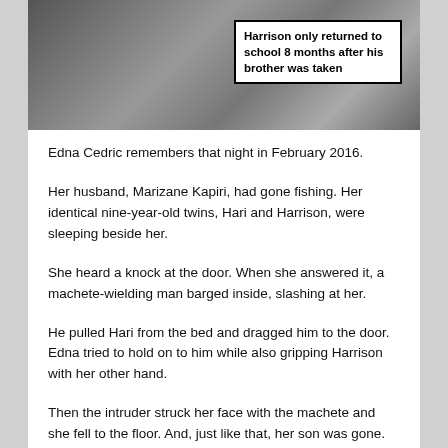[Figure (photo): Black and white photo showing a person with patterned fabric. An overlaid text box reads: 'Harrison only returned to school 8 months after his brother was taken']
Edna Cedric remembers that night in February 2016.
Her husband, Marizane Kapiri, had gone fishing. Her identical nine-year-old twins, Hari and Harrison, were sleeping beside her.
She heard a knock at the door. When she answered it, a machete-wielding man barged inside, slashing at her.
He pulled Hari from the bed and dragged him to the door. Edna tried to hold on to him while also gripping Harrison with her other hand.
Then the intruder struck her face with the machete and she fell to the floor. And, just like that, her son was gone.